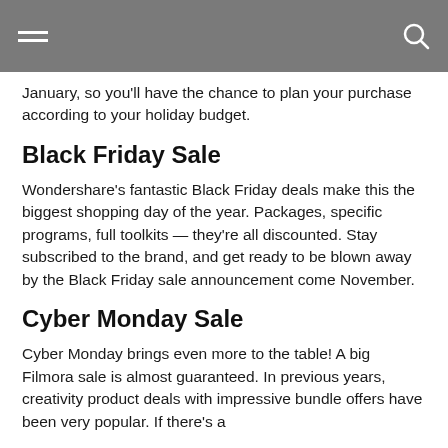January, so you'll have the chance to plan your purchase according to your holiday budget.
Black Friday Sale
Wondershare's fantastic Black Friday deals make this the biggest shopping day of the year. Packages, specific programs, full toolkits — they're all discounted. Stay subscribed to the brand, and get ready to be blown away by the Black Friday sale announcement come November.
Cyber Monday Sale
Cyber Monday brings even more to the table! A big Filmora sale is almost guaranteed. In previous years, creativity product deals with impressive bundle offers have been very popular. If there's a